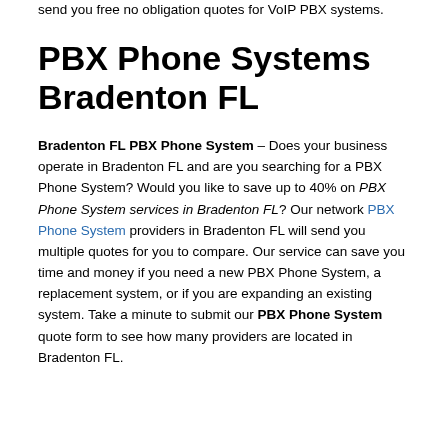on VoIP PBX Systems in Bradenton FL? Simply fill out our VoIP PBX quote form, and local vendors in Bradenton FL will send you free no obligation quotes for VoIP PBX systems.
PBX Phone Systems Bradenton FL
Bradenton FL PBX Phone System – Does your business operate in Bradenton FL and are you searching for a PBX Phone System? Would you like to save up to 40% on PBX Phone System services in Bradenton FL? Our network PBX Phone System providers in Bradenton FL will send you multiple quotes for you to compare. Our service can save you time and money if you need a new PBX Phone System, a replacement system, or if you are expanding an existing system. Take a minute to submit our PBX Phone System quote form to see how many providers are located in Bradenton FL.